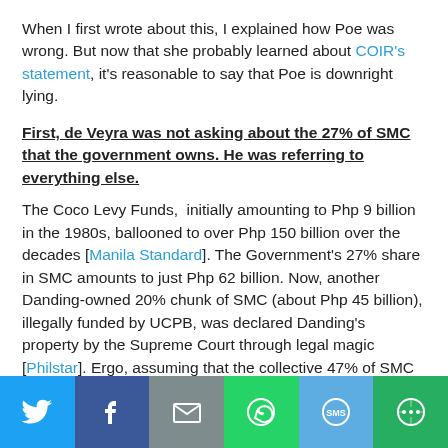When I first wrote about this, I explained how Poe was wrong. But now that she probably learned about COIR's statement, it's reasonable to say that Poe is downright lying.
First, de Veyra was not asking about the 27% of SMC that the government owns. He was referring to everything else.
The Coco Levy Funds, initially amounting to Php 9 billion in the 1980s, ballooned to over Php 150 billion over the decades [Manila Standard]. The Government's 27% share in SMC amounts to just Php 62 billion. Now, another Danding-owned 20% chunk of SMC (about Php 45 billion), illegally funded by UCPB, was declared Danding's property by the Supreme Court through legal magic [Philstar]. Ergo, assuming that the collective 47% of SMC has been settled, there's still some Php 43 billion that is not accounted for. After the flak she got after her March 9 statement, Grace
[Figure (other): Social media share bar with Twitter, Facebook, Email, WhatsApp, SMS, and More buttons]